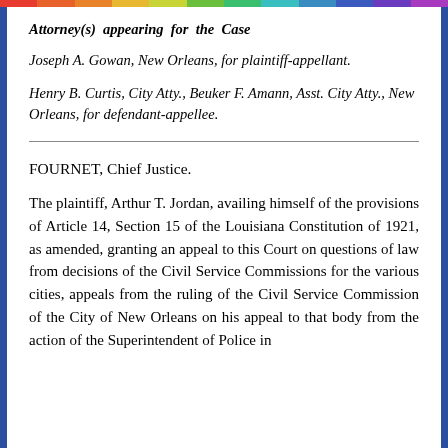Attorney(s) appearing for the Case
Joseph A. Gowan, New Orleans, for plaintiff-appellant.
Henry B. Curtis, City Atty., Beuker F. Amann, Asst. City Atty., New Orleans, for defendant-appellee.
FOURNET, Chief Justice.
The plaintiff, Arthur T. Jordan, availing himself of the provisions of Article 14, Section 15 of the Louisiana Constitution of 1921, as amended, granting an appeal to this Court on questions of law from decisions of the Civil Service Commissions for the various cities, appeals from the ruling of the Civil Service Commission of the City of New Orleans on his appeal to that body from the action of the Superintendent of Police in